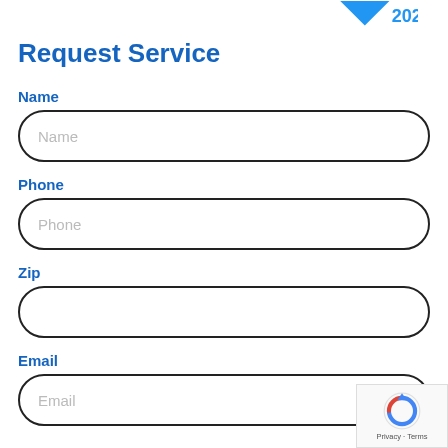[Figure (logo): Blue downward chevron/arrow logo with '2021' text in blue]
Request Service
Name
Name (placeholder input field)
Phone
Phone (placeholder input field)
Zip
Zip (empty input field)
Email
Email (placeholder input field)
[Figure (logo): Google reCAPTCHA badge with Privacy and Terms text]